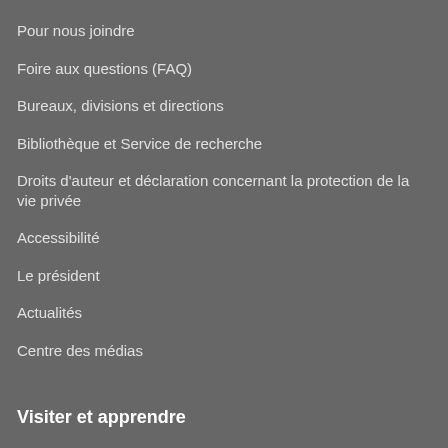Pour nous joindre
Foire aux questions (FAQ)
Bureaux, divisions et directions
Bibliothèque et Service de recherche
Droits d'auteur et déclaration concernant la protection de la vie privée
Accessibilité
Le président
Actualités
Centre des médias
Visiter et apprendre
Planifier votre visite
La boutique de cadeaux